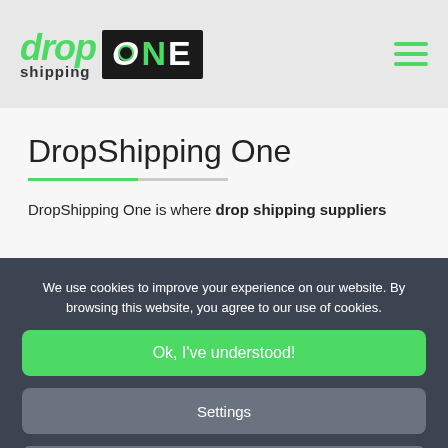DropShipping One logo and navigation
DropShipping One
DropShipping One is where drop shipping suppliers
We use cookies to improve your experience on our website. By browsing this website, you agree to our use of cookies.
Ok, I've understood!
Settings
More Info